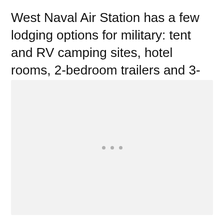West Naval Air Station has a few lodging options for military: tent and RV camping sites, hotel rooms, 2-bedroom trailers and 3-bedroom townhouses.
[Figure (photo): Image placeholder with three dots centered, representing a loading or unavailable image area with light grey background.]